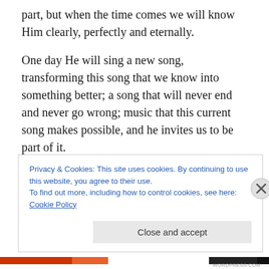part, but when the time comes we will know Him clearly, perfectly and eternally.
One day He will sing a new song, transforming this song that we know into something better; a song that will never end and never go wrong; music that this current song makes possible, and he invites us to be part of it.
That is something to look forward to and be grateful for. That is who we have the honour of knowing. That is someone to love.
Privacy & Cookies: This site uses cookies. By continuing to use this website, you agree to their use.
To find out more, including how to control cookies, see here: Cookie Policy
Close and accept